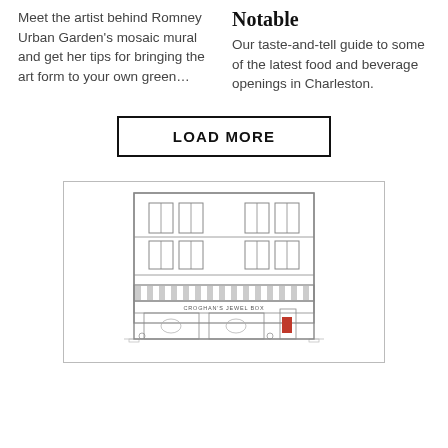Meet the artist behind Romney Urban Garden's mosaic mural and get her tips for bringing the art form to your own green...
Notable
Our taste-and-tell guide to some of the latest food and beverage openings in Charleston.
LOAD MORE
[Figure (illustration): Line illustration of a multi-story building storefront labeled 'Croghan's Jewel Box' with a striped awning, display windows, and a red door accent, enclosed in a thin rectangular border.]